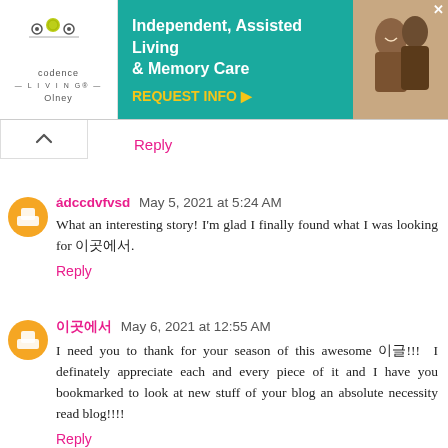[Figure (other): Advertisement banner for Codence Living Olney — Independent, Assisted Living & Memory Care with REQUEST INFO button and photo of elderly people]
Reply
ádccdvfvsd May 5, 2021 at 5:24 AM
What an interesting story! I'm glad I finally found what I was looking for 이곳에서.
Reply
이곳에서 May 6, 2021 at 12:55 AM
I need you to thank for your season of this awesome 이글!!!  I definately appreciate each and every piece of it and I have you bookmarked to look at new stuff of your blog an absolute necessity read blog!!!!
Reply